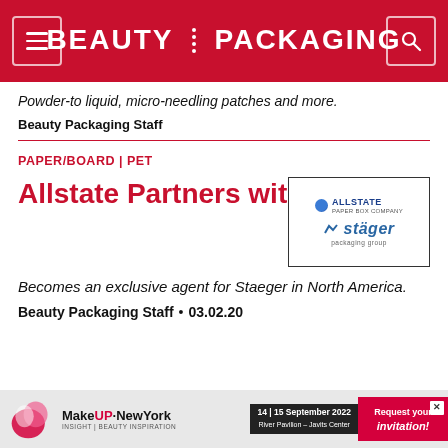BEAUTY PACKAGING
Powder-to liquid, micro-needling patches and more.
Beauty Packaging Staff
PAPER/BOARD | PET
[Figure (logo): Allstate Paper Box Company and Stäger packaging group logos side by side in a bordered box]
Allstate Partners with Staeger
Becomes an exclusive agent for Staeger in North America.
Beauty Packaging Staff  •  03.02.20
[Figure (infographic): MakeUP in NewYork advertisement banner: 14|15 September 2022, River Pavilion – Javits Center, Request your invitation!]